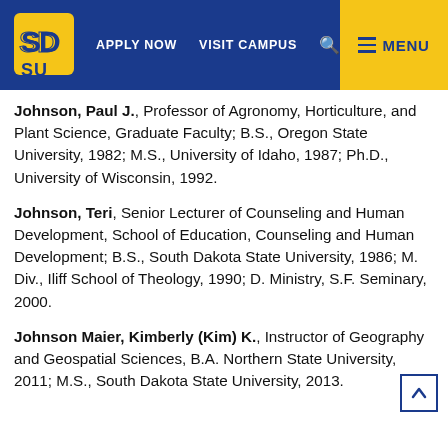SDSU logo | APPLY NOW | VISIT CAMPUS | search | MENU
Johnson, Paul J., Professor of Agronomy, Horticulture, and Plant Science, Graduate Faculty; B.S., Oregon State University, 1982; M.S., University of Idaho, 1987; Ph.D., University of Wisconsin, 1992.
Johnson, Teri, Senior Lecturer of Counseling and Human Development, School of Education, Counseling and Human Development; B.S., South Dakota State University, 1986; M. Div., Iliff School of Theology, 1990; D. Ministry, S.F. Seminary, 2000.
Johnson Maier, Kimberly (Kim) K., Instructor of Geography and Geospatial Sciences, B.A. Northern State University, 2011; M.S., South Dakota State University, 2013.